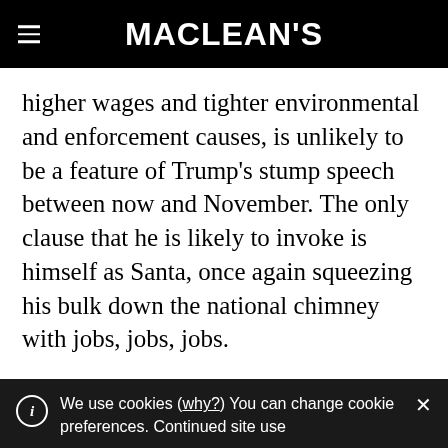MACLEAN'S
higher wages and tighter environmental and enforcement causes, is unlikely to be a feature of Trump’s stump speech between now and November. The only clause that he is likely to invoke is himself as Santa, once again squeezing his bulk down the national chimney with jobs, jobs, jobs.
Meanwhile, the president blithely romped along the rim of constitutional death
We use cookies (why?) You can change cookie preferences. Continued site use